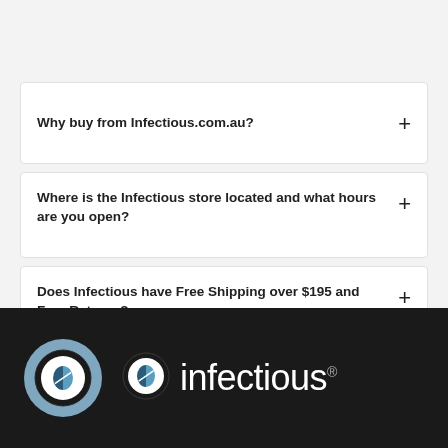Why buy from Infectious.com.au?
Where is the Infectious store located and what hours are you open?
Does Infectious have Free Shipping over $195 and Free Returns?
[Figure (logo): Infectious logo: pill capsule icon in a circle next to the word 'infectious' in white on dark background]